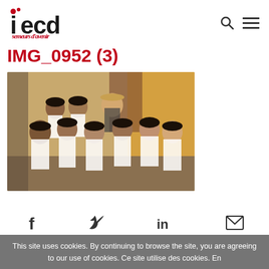iecd semeurs d'avenir
IMG_0952 (3)
[Figure (photo): Group photo of approximately 9-10 young women and girls in white t-shirts seated and standing together outdoors in front of a yellow-orange wall, with one woman in a striped shirt and a cap standing at the back.]
f  (twitter bird)  in  (envelope)
This site uses cookies. By continuing to browse the site, you are agreeing to our use of cookies. Ce site utilise des cookies. En